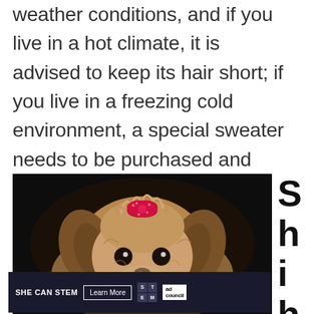weather conditions, and if you live in a hot climate, it is advised to keep its hair short; if you live in a freezing cold environment, a special sweater needs to be purchased and worn by the dog when it’s outside.
[Figure (photo): A small dog (Yorkshire Terrier or Shih Tzu mix) wearing a red sparkly bow on its head, photographed against a dark background. The dog has tan and grey fur and is looking directly at the camera.]
SHiht
SHE CAN STEM  Learn More  ad council